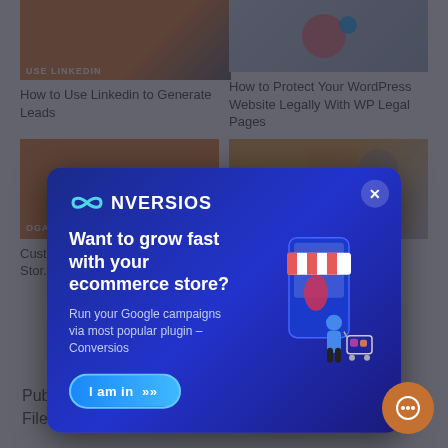[Figure (screenshot): Background webpage showing article cards including 'How to Use Linkedin to Generate Leads' and 'How to Protect Your WordPress Website Legally With WP Legal Pages']
How to Use Linkedin to Generate Leads
How to Protect Your WordPress Website Legally With WP Legal Pages
[Figure (infographic): Conversios popup modal with dark blue background showing logo, headline 'Want to grow fast with your ecommerce store?', subtext 'Run your Google campaigns via most popular plugin – Conversios', a CTA button 'I am in >>', and an illustration of a woman with a shopping cart next to a mobile phone storefront]
Published on May 28, 2019 by Usman Raza. Filed under: hangouts, livestream, social media.